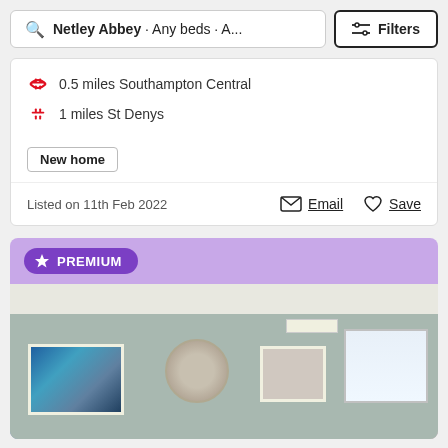Netley Abbey · Any beds · A... | Filters
0.5 miles Southampton Central
1 miles St Denys
New home
Listed on 11th Feb 2022
Email
Save
[Figure (screenshot): PREMIUM listing card with interior room photo showing living room with framed art, mirror, and window]